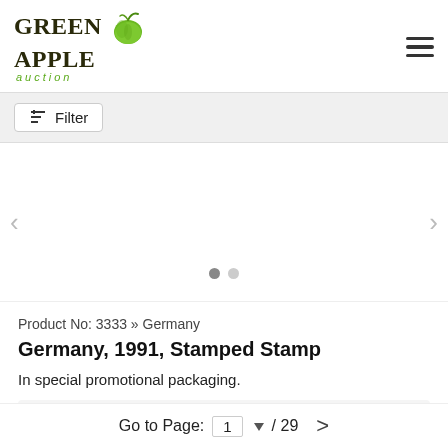[Figure (logo): Green Apple Auction logo with apple icon and text]
Filter
[Figure (photo): Product image carousel area with navigation arrows and two dots indicator]
Product No: 3333 » Germany
Germany, 1991, Stamped Stamp
In special promotional packaging.
Price: 2 USD
Buy Now
Go to Page: 1 / 29 >